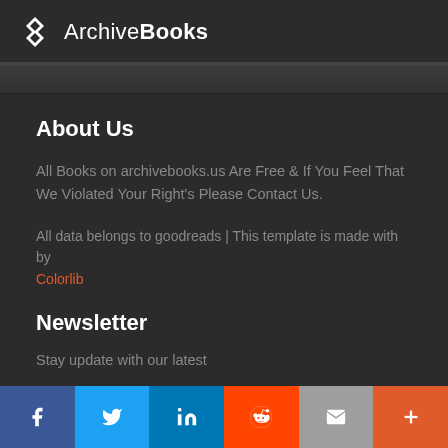ArchiveBooks
About Us
All Books on archivebooks.us Are Free & If You Feel That We Violated Your Right's Please Contact Us.
All data belongs to goodreads | This template is made with by Colorlib
Newsletter
Stay update with our latest